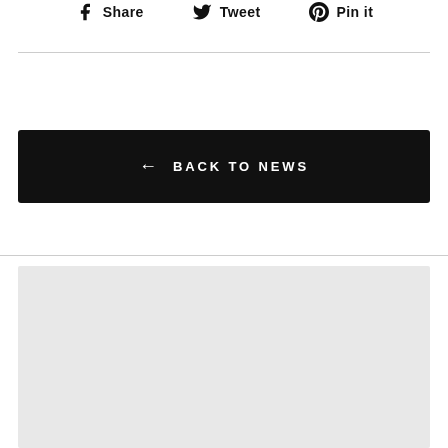Share  Tweet  Pin it
← BACK TO NEWS
[Figure (other): Gray placeholder rectangle below a horizontal rule]